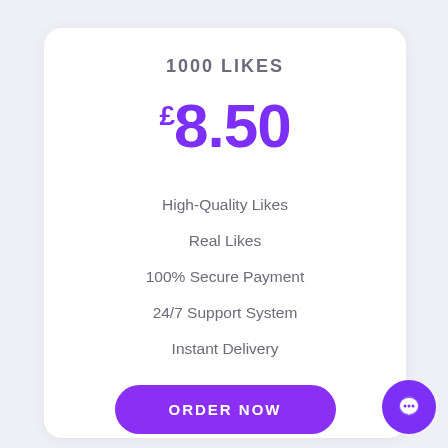1000 LIKES
£8.50
High-Quality Likes
Real Likes
100% Secure Payment
24/7 Support System
Instant Delivery
ORDER NOW